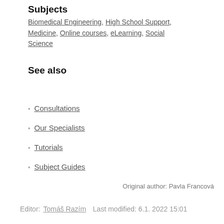Subjects
Biomedical Engineering, High School Support, Medicine, Online courses, eLearning, Social Science
See also
Consultations
Our Specialists
Tutorials
Subject Guides
Original author: Pavla Francová
Editor: Tomáš Razím  Last modified: 6.1. 2022 15:01